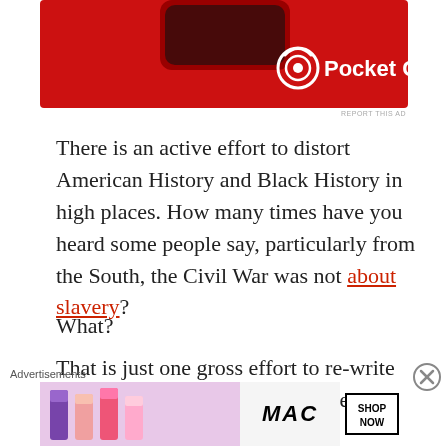[Figure (photo): Advertisement banner for Pocket Casts app showing a red smartwatch/device on a red background with the Pocket Casts logo and icon]
There is an active effort to distort American History and Black History in high places. How many times have you heard some people say, particularly from the South, the Civil War was not about slavery?
What?
That is just one gross effort to re-write history books in what the most recent past president
[Figure (photo): MAC Cosmetics advertisement showing lipsticks with a SHOP NOW button]